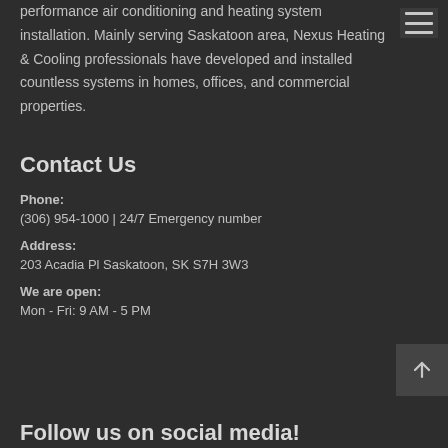performance air conditioning and heating system installation. Mainly serving Saskatoon area, Nexus Heating & Cooling professionals have developed and installed countless systems in homes, offices, and commercial properties.
Contact Us
Phone:
(306) 954-1000 | 24/7 Emergency number
Address:
203 Acadia Pl Saskatoon, SK S7H 3W3
We are open:
Mon - Fri: 9 AM - 5 PM
Follow us on social media!